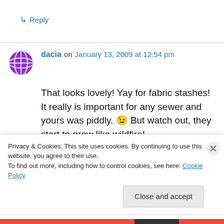↳ Reply
dacia on January 13, 2009 at 12:54 pm
That looks lovely! Yay for fabric stashes! It really is important for any sewer and yours was piddly. 😉 But watch out, they start to grow like wildfire!
Privacy & Cookies: This site uses cookies. By continuing to use this website, you agree to their use.
To find out more, including how to control cookies, see here: Cookie Policy
Close and accept